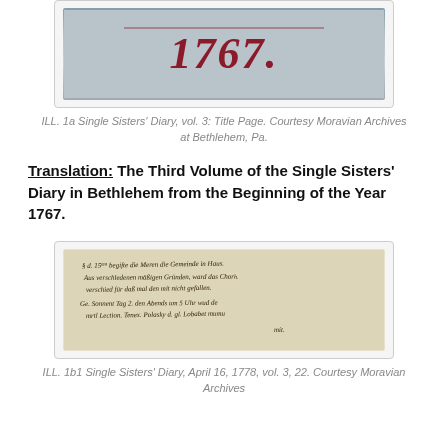[Figure (photo): Photograph of the title page of Single Sisters' Diary vol. 3, showing the year 1707 in decorative script on a worn book cover.]
ILL. 1a Single Sisters' Diary, vol. 3: Title Page. Courtesy Moravian Archives at Bethlehem, Pa.
Translation:  The Third Volume of the Single Sisters' Diary in Bethlehem from the Beginning of the Year 1767.
[Figure (photo): Photograph of a handwritten manuscript page from the Single Sisters' Diary, April 16, 1778, vol. 3, p. 22, in old German script.]
ILL. 1b1 Single Sisters' Diary, April 16, 1778, vol. 3, 22. Courtesy Moravian Archives